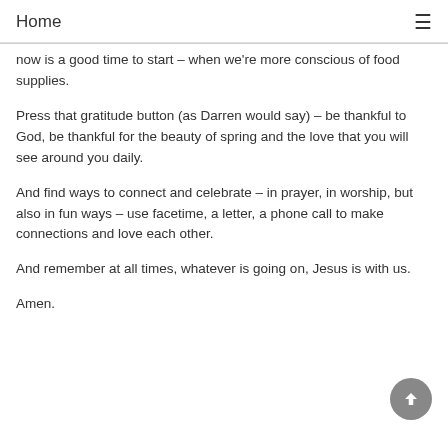Home
now is a good time to start – when we're more conscious of food supplies.
Press that gratitude button (as Darren would say) – be thankful to God, be thankful for the beauty of spring and the love that you will see around you daily.
And find ways to connect and celebrate – in prayer, in worship, but also in fun ways – use facetime, a letter, a phone call to make connections and love each other.
And remember at all times, whatever is going on, Jesus is with us.
Amen.